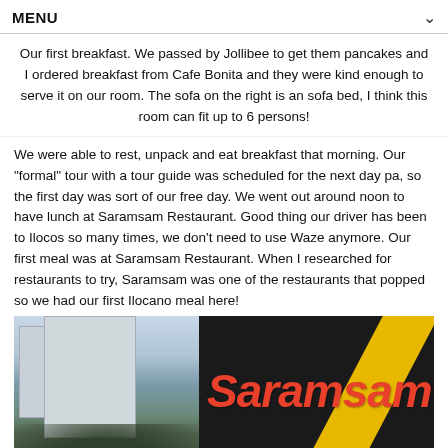MENU
Our first breakfast. We passed by Jollibee to get them pancakes and I ordered breakfast from Cafe Bonita and they were kind enough to serve it on our room. The sofa on the right is an sofa bed, I think this room can fit up to 6 persons!
We were able to rest, unpack and eat breakfast that morning. Our "formal" tour with a tour guide was scheduled for the next day pa, so the first day was sort of our free day. We went out around noon to have lunch at Saramsam Restaurant. Good thing our driver has been to Ilocos so many times, we don't need to use Waze anymore. Our first meal was at Saramsam Restaurant. When I researched for restaurants to try, Saramsam was one of the restaurants that popped so we had our first Ilocano meal here!
[Figure (photo): Photo of Saramsam Ylocano Restaurant sign and building exterior. Left half shows a building with trees in the foreground. Right half shows a dark sign with 'Saramsam Ylocano Restaurant' in red italic text with a yellow slash design.]